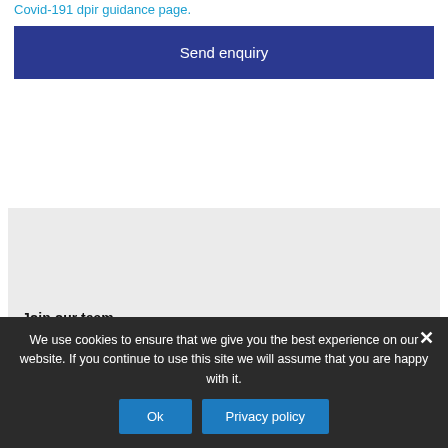Covid-191 dpir guidance page.
Send enquiry
Join our team
We use cookies to ensure that we give you the best experience on our website. If you continue to use this site we will assume that you are happy with it.
Ok
Privacy policy